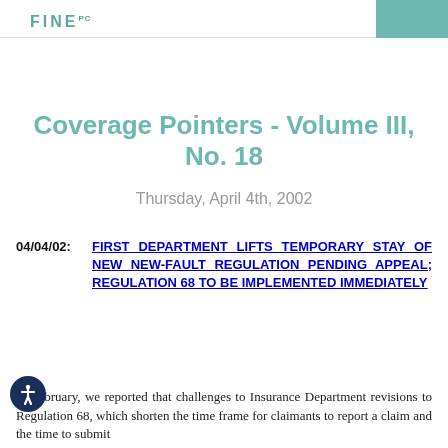FINE PC
Coverage Pointers - Volume III, No. 18
Thursday, April 4th, 2002
04/04/02: FIRST DEPARTMENT LIFTS TEMPORARY STAY OF NEW NEW-FAULT REGULATION PENDING APPEAL; REGULATION 68 TO BE IMPLEMENTED IMMEDIATELY
In February, we reported that challenges to Insurance Department revisions to Regulation 68, which shorten the time frame for claimants to report a claim and the time to submit